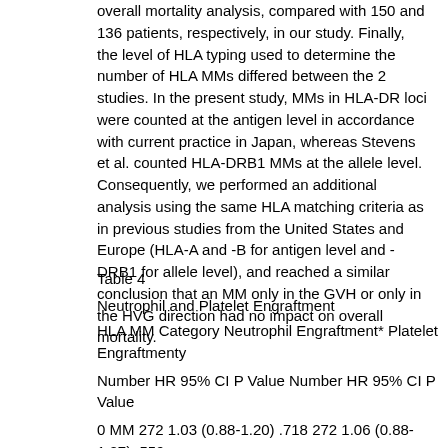overall mortality analysis, compared with 150 and 136 patients, respectively, in our study. Finally, the level of HLA typing used to determine the number of HLA MMs differed between the 2 studies. In the present study, MMs in HLA-DR loci were counted at the antigen level in accordance with current practice in Japan, whereas Stevens et al. counted HLA-DRB1 MMs at the allele level. Consequently, we performed an additional analysis using the same HLA matching criteria as in previous studies from the United States and Europe (HLA-A and -B for antigen level and -DRB1 for allele level), and reached a similar conclusion that an MM only in the GVH or only in the HVG direction had no impact on overall mortality.
Table 4
Neutrophil and Platelet Engraftment
| HLA MM Category | Neutrophil Engraftment* |  |  | Platelet Engraftmenty |  |  |  |
| --- | --- | --- | --- | --- | --- | --- | --- |
|  | Number | HR | 95% CI | P Value | Number | HR | 95% CI | P Value |
| 0 MM | 272 | 1.03 | (0.88-1.20) | .718 | 272 | 1.06 | (0.88-1.27) | .559 |